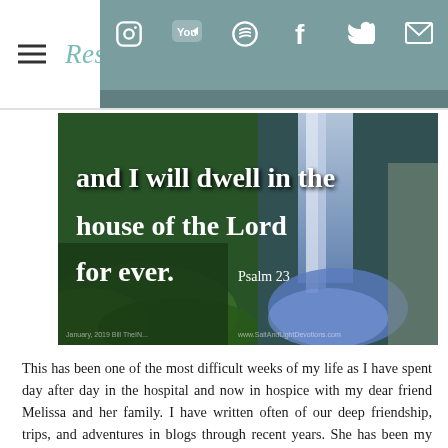Restore Mi...
[Figure (photo): Nature photo of a waterfall surrounded by green ferns and mossy rocks, with overlaid white text reading: 'and I will dwell in the house of the Lord for ever. Psalm 23'. Watermark: www.SaltAndLightDevotions.com]
This has been one of the most difficult weeks of my life as I have spent day after day in the hospital and now in hospice with my dear friend Melissa and her family. I have written often of our deep friendship, trips, and adventures in blogs through recent years. She has been my dearest of friends. The cancer she has battled for three and a half years is now taking over her brain. It